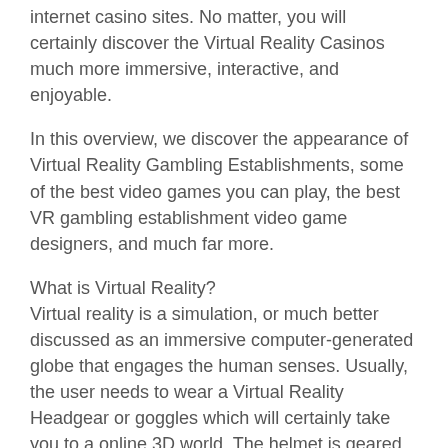internet casino sites. No matter, you will certainly discover the Virtual Reality Casinos much more immersive, interactive, and enjoyable.
In this overview, we discover the appearance of Virtual Reality Gambling Establishments, some of the best video games you can play, the best VR gambling establishment video game designers, and much far more.
What is Virtual Reality?
Virtual reality is a simulation, or much better discussed as an immersive computer-generated globe that engages the human senses. Usually, the user needs to wear a Virtual Reality Headgear or goggles which will certainly take you to a online 3D world. The helmet is geared up with numerous LED screens and a pre-installed stereo stereo.
Since the very first Virtual Reality- helmet sold by SEGA hit the marketplaces over two decades back, the innovation has made a significant advancement in the top quality and design of Virtual Reality modern technology. There are four